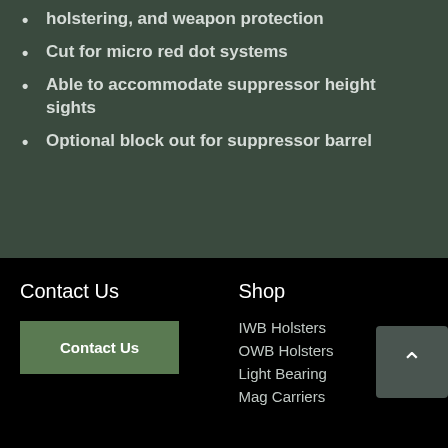Mid-height sweat guard for easy re-holstering, and weapon protection
Cut for micro red dot systems
Able to accommodate suppressor height sights
Optional block out for suppressor barrel
Contact Us
Shop
Contact Us
IWB Holsters
OWB Holsters
Light Bearing
Mag Carriers